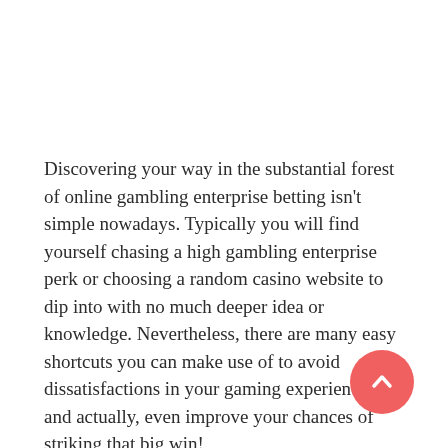Discovering your way in the substantial forest of online gambling enterprise betting isn't simple nowadays. Typically you will find yourself chasing a high gambling enterprise perk or choosing a random casino website to dip into with no much deeper idea or knowledge. Nevertheless, there are many easy shortcuts you can make use of to avoid dissatisfactions in your gaming experience, and actually, even improve your chances of striking that big win!
In this write-up we will certainly go over just how to take xe88 apk advantage of making use of a casino bonus in your gaming, as well as how to make sure that
[Figure (other): Red circular scroll-to-top button with white upward chevron arrow, positioned in bottom-right area]